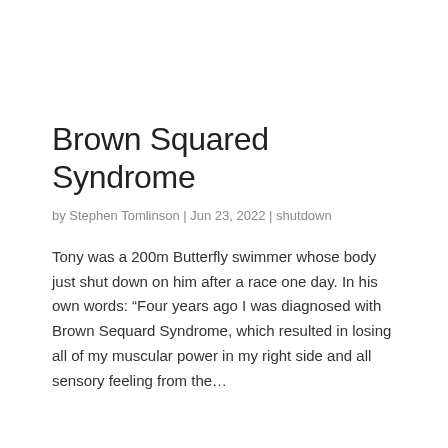Brown Squared Syndrome
by Stephen Tomlinson | Jun 23, 2022 | shutdown
Tony was a 200m Butterfly swimmer whose body just shut down on him after a race one day. In his own words: “Four years ago I was diagnosed with Brown Sequard Syndrome, which resulted in losing all of my muscular power in my right side and all sensory feeling from the…